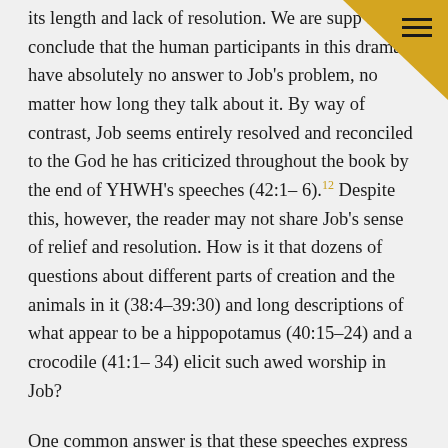its length and lack of resolution. We are supposed to conclude that the human participants in this drama have absolutely no answer to Job's problem, no matter how long they talk about it. By way of contrast, Job seems entirely resolved and reconciled to the God he has criticized throughout the book by the end of YHWH's speeches (42:1–6).¹² Despite this, however, the reader may not share Job's sense of relief and resolution. How is it that dozens of questions about different parts of creation and the animals in it (38:4–39:30) and long descriptions of what appear to be a hippopotamus (40:15–24) and a crocodile (41:1–34) elicit such awed worship in Job?
One common answer is that these speeches express the limitless power and wisdom of God.¹³ Although